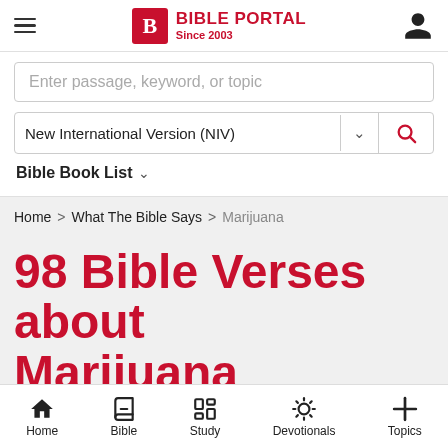BIBLE PORTAL Since 2003
Enter passage, keyword, or topic
New International Version (NIV)
Bible Book List
Home > What The Bible Says > Marijuana
98 Bible Verses about Marijuana
Home  Bible  Study  Devotionals  Topics